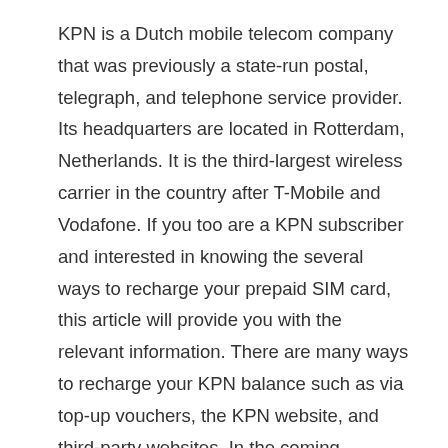KPN is a Dutch mobile telecom company that was previously a state-run postal, telegraph, and telephone service provider. Its headquarters are located in Rotterdam, Netherlands. It is the third-largest wireless carrier in the country after T-Mobile and Vodafone. If you too are a KPN subscriber and interested in knowing the several ways to recharge your prepaid SIM card, this article will provide you with the relevant information. There are many ways to recharge your KPN balance such as via top-up vouchers, the KPN website, and third-party websites. In the coming sections, you will learn about all these methods in detail.